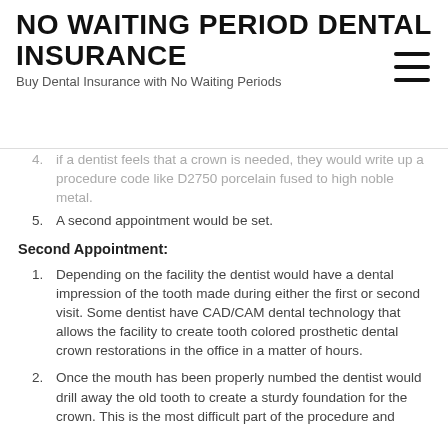NO WAITING PERIOD DENTAL INSURANCE
Buy Dental Insurance with No Waiting Periods
If a dentist feels that a crown is needed, they would write up a procedure code like D2750 porcelain fused to high noble metal.
A second appointment would be set.
Second Appointment:
Depending on the facility the dentist would have a dental impression of the tooth made during either the first or second visit. Some dentist have CAD/CAM dental technology that allows the facility to create tooth colored prosthetic dental crown restorations in the office in a matter of hours.
Once the mouth has been properly numbed the dentist would drill away the old tooth to create a sturdy foundation for the crown. This is the most difficult part of the procedure and